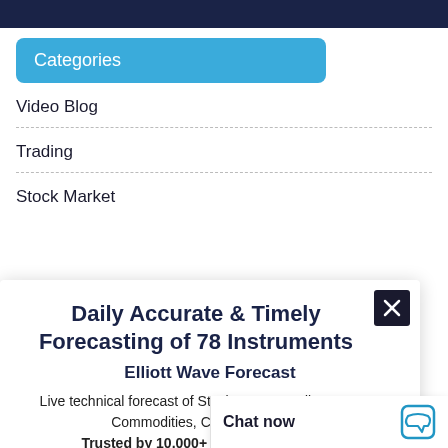[Figure (other): Dark navy blue top bar/header strip]
Categories
Video Blog
Trading
Stock Market
Daily Accurate & Timely Forecasting of 78 Instruments
Elliott Wave Forecast
Live technical forecast of Stocks, ETFs, Indices, Forex, Commodities, Crypto and more. Trusted by 10,000+ successful traders.
Start Y...
Chat now